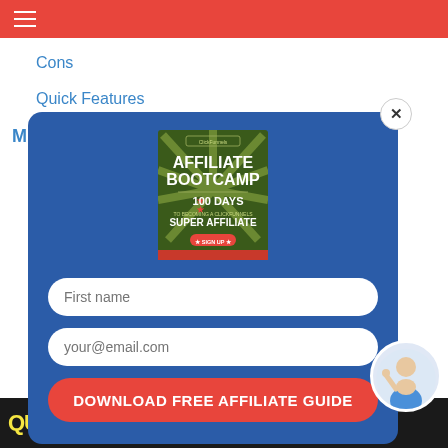navigation bar with hamburger menu
Cons
Quick Features
Microsoft Surface Laptop 3
[Figure (screenshot): Modal popup with blue background. Contains: Affiliate Bootcamp book cover image (100 Days to Becoming a ClickFunnels Super Affiliate), First name input field, your@email.com input field, Download Free Affiliate Guide red button, and a close (x) button.]
[Figure (screenshot): Bottom banner advertisement showing stylized QUIPT text in yellow and peacock logo with STREAM NOW text on dark background. Avatar bubble of a woman in bottom right corner.]